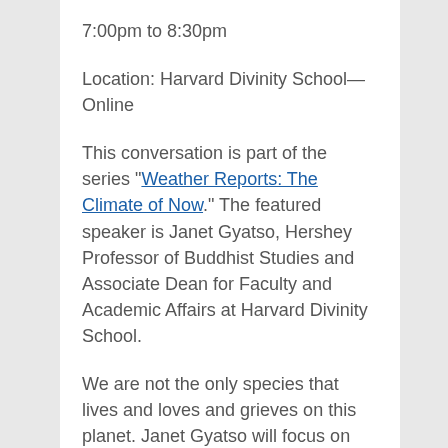7:00pm to 8:30pm
Location: Harvard Divinity School—Online
This conversation is part of the series "Weather Reports: The Climate of Now." The featured speaker is Janet Gyatso, Hershey Professor of Buddhist Studies and Associate Dean for Faculty and Academic Affairs at Harvard Divinity School.
We are not the only species that lives and loves and grieves on this planet. Janet Gyatso will focus on